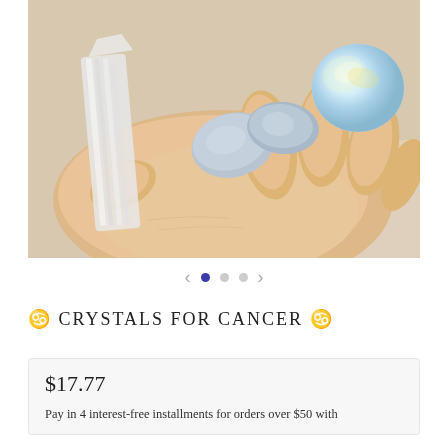[Figure (photo): A hand holding three crystals: a clear selenite wand, two rough blue/grey stones (angelite or celestite), and an opalite moonstone sphere. Photo taken from above on a light beige background.]
♋ CRYSTALS FOR CANCER ♋
$17.77
Pay in 4 interest-free installments for orders over $50 with